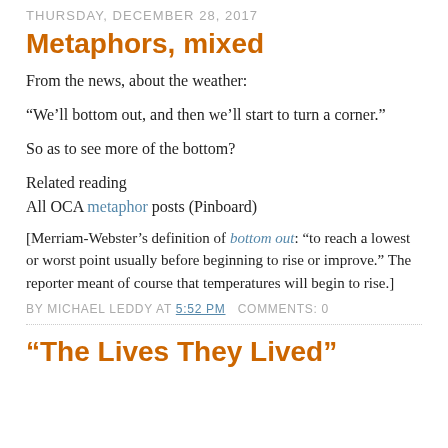THURSDAY, DECEMBER 28, 2017
Metaphors, mixed
From the news, about the weather:
“We’ll bottom out, and then we’ll start to turn a corner.”
So as to see more of the bottom?
Related reading
All OCA metaphor posts (Pinboard)
[Merriam-Webster’s definition of bottom out: “to reach a lowest or worst point usually before beginning to rise or improve.” The reporter meant of course that temperatures will begin to rise.]
BY MICHAEL LEDDY AT 5:52 PM   COMMENTS: 0
“The Lives They Lived”